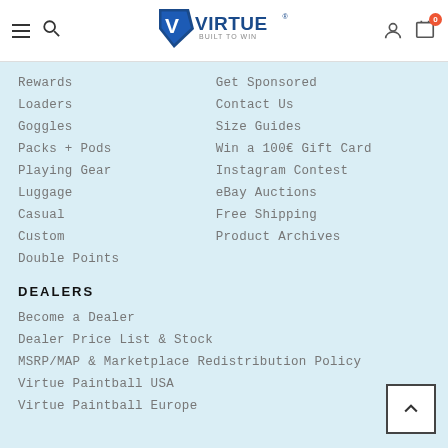Virtue Paintball - Built to Win
Rewards
Loaders
Goggles
Packs + Pods
Playing Gear
Luggage
Casual
Custom
Double Points
Get Sponsored
Contact Us
Size Guides
Win a 100€ Gift Card
Instagram Contest
eBay Auctions
Free Shipping
Product Archives
DEALERS
Become a Dealer
Dealer Price List & Stock
MSRP/MAP & Marketplace Redistribution Policy
Virtue Paintball USA
Virtue Paintball Europe